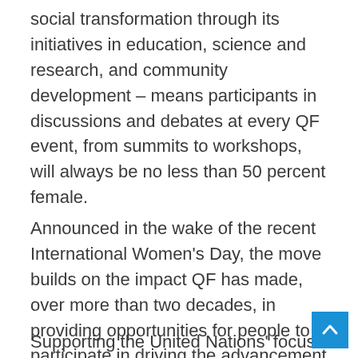social transformation through its initiatives in education, science and research, and community development – means participants in discussions and debates at every QF event, from summits to workshops, will always be no less than 50 percent female.
Announced in the wake of the recent International Women's Day, the move builds on the impact QF has made, over more than two decades, in providing opportunities for people to participate in driving the advancement of society on a local and global scale – regardless of gender, background, and culture – and to fostering diversity and inclusivity.
Supporting the United Nations' focus on female